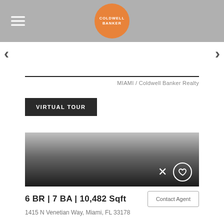COLDWELL BANKER
[Figure (screenshot): Real estate property listing page from Coldwell Banker Realty showing a virtual tour button, property image with gradient overlay, dismiss and favorite icons, property specs and contact agent button.]
MIAMI / Coldwell Banker Realty
VIRTUAL TOUR
6 BR | 7 BA | 10,482 Sqft
Contact Agent
1415 N Venetian Way, Miami, FL 33178